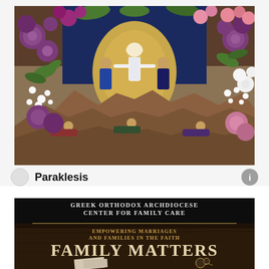[Figure (photo): Orthodox Christian icon of the Transfiguration surrounded by flowers (purple chrysanthemums, white baby's breath, pink and white lilies, green foliage). The icon shows Christ in white robes with two figures beside him and prostrate figures below.]
Paraklesis
[Figure (photo): Promotional image for the Greek Orthodox Archdiocese Center for Family Care. Dark brown/black background with gold and white text reading: 'Greek Orthodox Archdiocese Center for Family Care / Empowering Marriages and Families in the Faith / Family Matters'. A religious booklet and rosary beads are visible at the bottom.]